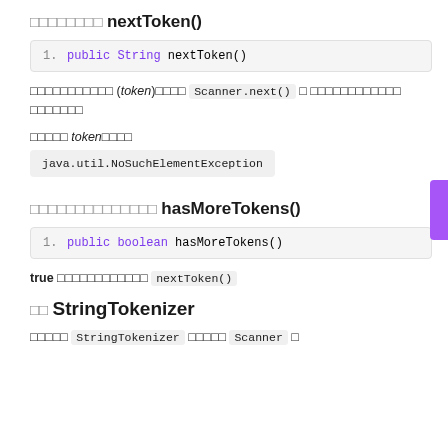□□□□□□□□ nextToken()
1. public String nextToken()
□□□□□□□□□□□ (token)□□□□ Scanner.next() □ □□□□□□□□□□□□ □□□□□□□
□□□□□ token□□□□
java.util.NoSuchElementException
□□□□□□□□□□□□□□ hasMoreTokens()
1. public boolean hasMoreTokens()
true □□□□□□□□□□□□ nextToken()
□□ StringTokenizer
□□□□□ StringTokenizer □□□□□ Scanner □